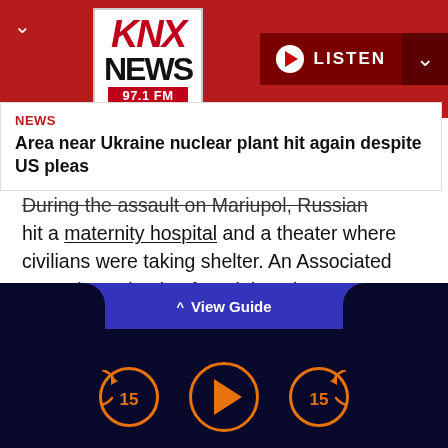[Figure (logo): KNX News 97.1 FM radio station logo in red and black on white background, with Listen button and navigation chevrons on dark red header bar]
NEWS
Area near Ukraine nuclear plant hit again despite US pleas
During the assault on Mariupol, Russian airstrikes hit a maternity hospital and a theater where civilians were taking shelter. An Associated Press investigation found that close to 600 people died in the theater attack, double the figure estimated by Ukrainian authorities.